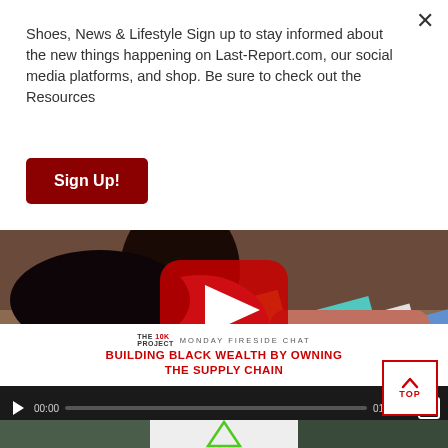Shoes, News & Lifestyle Sign up to stay informed about the new things happening on Last-Report.com, our social media platforms, and shop. Be sure to check out the Resources
Sign Up!
[Figure (screenshot): YouTube video player showing 'Building Black Wealth by Owning the Supply Chain' Monday Fireside Chat by The 10K Project. Video thumbnail shows a woman in pink against colorful background. Controls show time 00:00 / 01:06:08.]
[Figure (photo): Bottom strip showing three partial images: dark green background, white background with a triangle logo, and another dark green photo.]